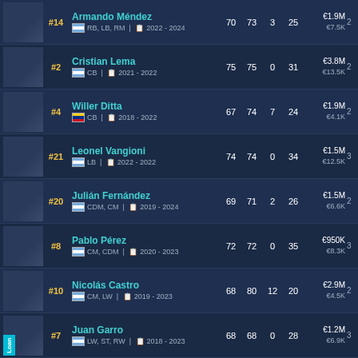#14 Armando Méndez | RB, LB, RM | 2022 - 2024 | 70 | 73 | 3 | 25 | €1.9M | €7.5K
#2 Cristian Lema | CB | 2021 - 2022 | 75 | 75 | 0 | 31 | €3.8M | €13.5K
#4 Willer Ditta | CB | 2018 - 2022 | 67 | 74 | 7 | 24 | €1.9M | €4.1K
#21 Leonel Vangioni | LB | 2022 - 2022 | 74 | 74 | 0 | 34 | €1.5M | €12.5K
#20 Julián Fernández | CDM, CM | 2019 - 2024 | 69 | 71 | 2 | 26 | €1.5M | €6.6K
#8 Pablo Pérez | CM, CDM | 2020 - 2023 | 72 | 72 | 0 | 35 | €950K | €8.3K
#10 Nicolás Castro | CM, LW | 2019 - 2023 | 68 | 80 | 12 | 20 | €2.9M | €4.5K
#7 Juan Garro | Loan | LW, ST, RW | 2018 - 2023 | 68 | 68 | 0 | 28 | €1.2M | €6.9K